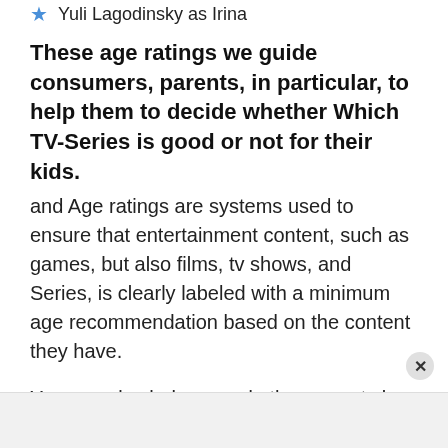Yuli Lagodinsky as Irina
These age ratings we guide consumers, parents, in particular, to help them to decide whether Which TV-Series is good or not for their kids. and Age ratings are systems used to ensure that entertainment content, such as games, but also films, tv shows, and Series, is clearly labeled with a minimum age recommendation based on the content they have.
You can also help us and other parents by commenting on our Comment box. we are always ready to welcome you.